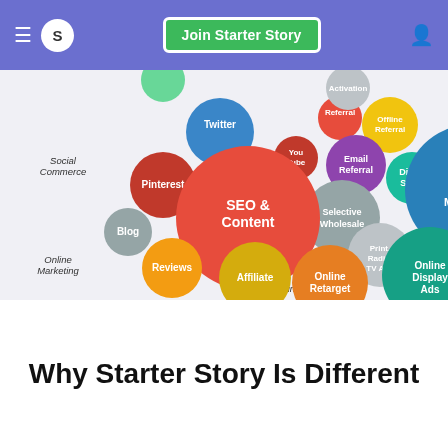S | Join Starter Story
[Figure (bubble-chart): Marketing channel bubble chart showing various channels as colored circles of different sizes. Channels include: SEO & Content (large red), Search Engine Marketing (large blue), Online Display Ads (teal), Online Retarget (orange), Affiliate (yellow-green), Reviews (yellow), Blog (gray), Pinterest (red), Twitter (blue), YouTube (dark red), Email Referral (purple), Referral (red), Offline Referral (yellow), Activation (light gray), Direct Sales (teal), Selective Wholesale (gray), Print Radio TV Ads (gray). Category labels: Social Commerce, Online Marketing, Online Advertising, Offline Advertising.]
Why Starter Story Is Different